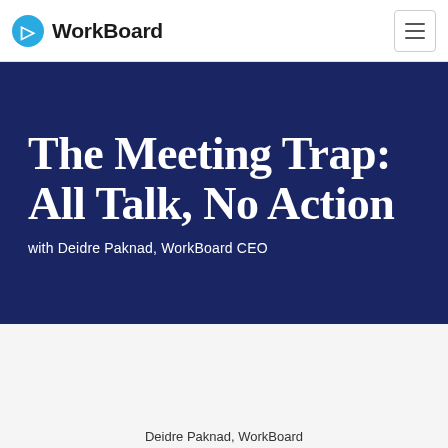WorkBoard
The Meeting Trap: All Talk, No Action
with Deidre Paknad, WorkBoard CEO
Deidre Paknad, WorkBoard